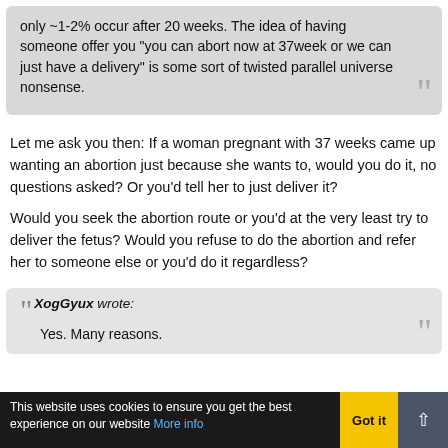only ~1-2% occur after 20 weeks. The idea of having someone offer you "you can abort now at 37week or we can just have a delivery" is some sort of twisted parallel universe nonsense.
Let me ask you then: If a woman pregnant with 37 weeks came up wanting an abortion just because she wants to, would you do it, no questions asked? Or you'd tell her to just deliver it?
Would you seek the abortion route or you'd at the very least try to deliver the fetus? Would you refuse to do the abortion and refer her to someone else or you'd do it regardless?
XogGyux wrote: Yes. Many reasons.
This website uses cookies to ensure you get the best experience on our website More info